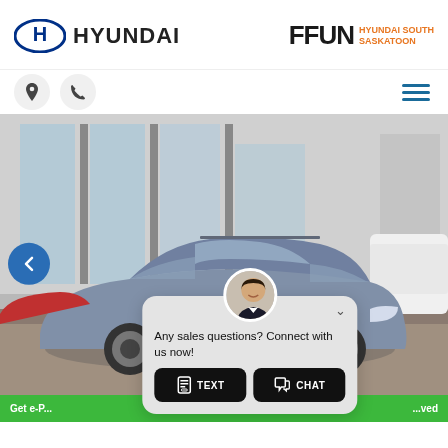[Figure (logo): Hyundai logo (blue oval with H) and wordmark 'HYUNDAI' in dark text]
[Figure (logo): FFUN logo in black bold text with 'HYUNDAI SOUTH SASKATOON' in orange text beside it]
[Figure (photo): Navigation and phone icon buttons on left, hamburger menu icon on right]
[Figure (photo): Silver/grey Volkswagen Atlas SUV parked outside a dealership showroom. A chat widget overlays the lower portion with a salesperson avatar, text 'Any sales questions? Connect with us now!' and TEXT and CHAT buttons.]
Any sales questions? Connect with us now!
TEXT
CHAT
Get e-P... ...ved